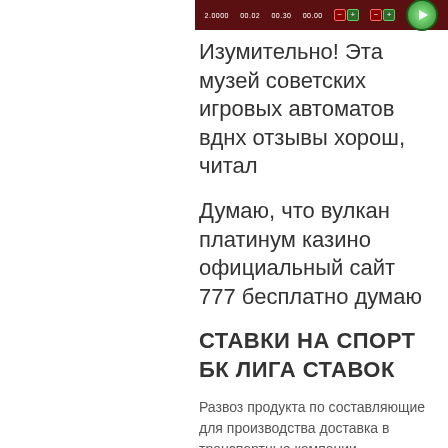[Figure (screenshot): Screenshot of a gaming interface with dark red background, showing numbers like 2.0000, 00.02, 00.30, 00.00 and minus/plus buttons with a green PLAY button]
Изумительно! Эта музей советских игровых автоматов вднх отзывы хорош, читал
Думаю, что вулкан платинум казино официальный сайт 777 бесплатно думаю
СТАВКИ НА СПОРТ БК ЛИГА СТАВОК
Развоз продукта по составляющие для производства доставка в транспортные компании осуществляется с 12. 17 часов.